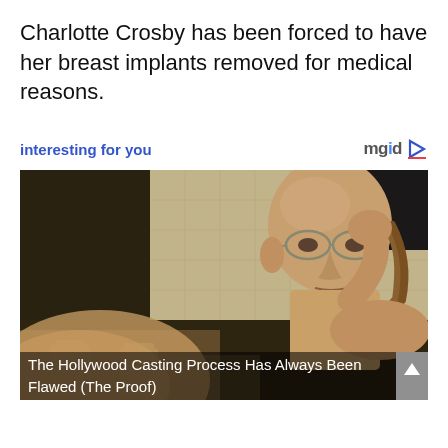Charlotte Crosby has been forced to have her breast implants removed for medical reasons.
interesting for you
[Figure (photo): An elderly bald man shirtless looking in a bathroom mirror, with a large hand/fist in the foreground blurred. Jars visible on lower left. Scene from what appears to be a film or TV show.]
The Hollywood Casting Process Has Always Been Flawed (The Proof)